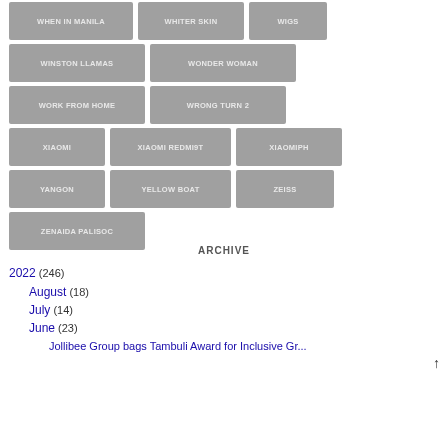WHEN IN MANILA
WHITER SKIN
WIGS
WINSTON LLAMAS
WONDER WOMAN
WORK FROM HOME
WRONG TURN 2
XIAOMI
XIAOMI REDMI9T
XIAOMIPH
YANGON
YELLOW BOAT
ZEISS
ZENAIDA PALISOC
ARCHIVE
2022 (246)
August (18)
July (14)
June (23)
Jollibee Group bags Tambuli Award for Inclusive Gr...